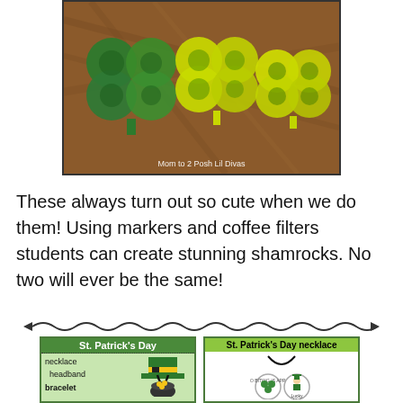[Figure (photo): Photo of colorful shamrock crafts made from coffee filters with green and yellow marker colors, on a wooden surface. Credit: Mom to 2 Posh Lil Divas]
These always turn out so cute when we do them!  Using markers and coffee filters students can create stunning shamrocks.  No two will ever be the same!
[Figure (illustration): Wavy horizontal arrow line divider]
[Figure (illustration): Left card: St. Patrick's Day craft product card with green header showing necklace, headband, bracelet options and leprechaun hat and pot of gold imagery. Right card: St. Patrick's Day necklace craft showing shamrock and leprechaun pendant designs.]